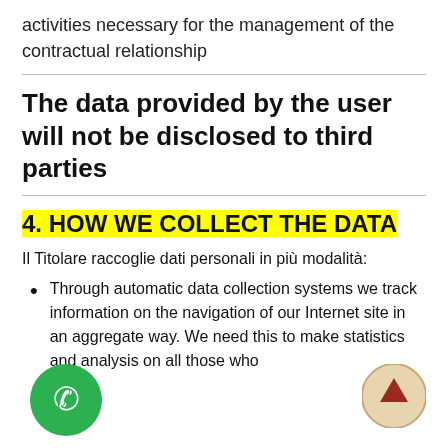activities necessary for the management of the contractual relationship
The data provided by the user will not be disclosed to third parties
4. HOW WE COLLECT THE DATA
Il Titolare raccoglie dati personali in più modalità:
Through automatic data collection systems we track information on the navigation of our Internet site in an aggregate way. We need this to make statistics and analysis on all those who
[Figure (illustration): Green circle phone button icon in bottom left]
[Figure (illustration): Beige/tan circle with red upward arrow button in bottom right]